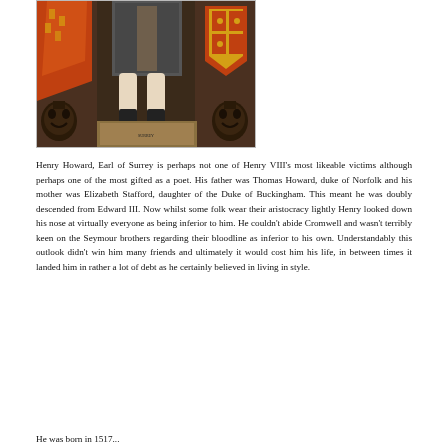[Figure (photo): A historical painting showing figures in Renaissance-era clothing and decorative carved architectural elements including grotesque mask sculptures. The painting features richly colored garments in red and gold tones.]
Henry Howard, Earl of Surrey is perhaps not one of Henry VIII's most likeable victims although perhaps one of the most gifted as a poet. His father was Thomas Howard, duke of Norfolk and his mother was Elizabeth Stafford, daughter of the Duke of Buckingham.  This meant he was doubly descended from Edward III.  Now whilst some folk wear their aristocracy lightly Henry looked down his nose at virtually everyone as being inferior to him.  He couldn't abide Cromwell and wasn't terribly keen on the Seymour brothers regarding their bloodline as inferior to his own.  Understandably this outlook didn't win him many friends and ultimately it would cost him his life, in between times it landed him in rather a lot of debt as he certainly believed in living in style.
He was born in 1517...